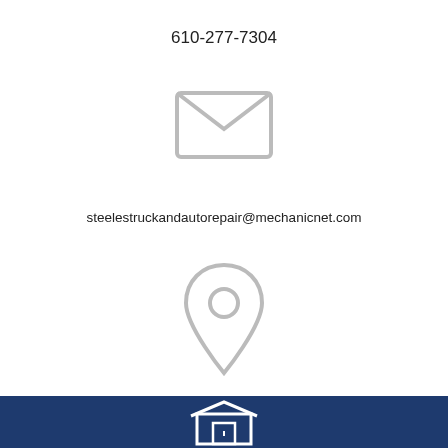610-277-7304
[Figure (illustration): Envelope/email icon, outline style in light gray]
steelestruckandautorepair@mechanicnet.com
[Figure (illustration): Map pin/location icon, outline style in light gray]
491 E. Church Road
King of Prussia, PA 19406
[Figure (illustration): Facebook icon (blue square with white f) and Yelp icon (white square with red yelp burst)]
[Figure (illustration): Dark navy footer bar with a store/building outline icon in white at center bottom]